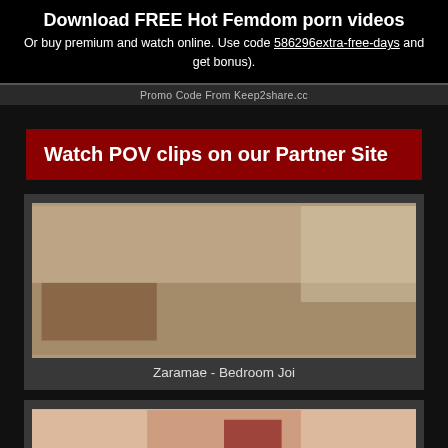Download FREE Hot Femdom porn videos
Or buy premium and watch online. Use code 586296extra-free-days and get bonus).
Promo Code From Keep2share.cc
Watch POV clips on our Partner Site
[Figure (photo): Photo of a woman in a bedroom setting]
Zaramae - Bedroom Joi
[Figure (photo): Partial photo of a woman, bottom portion visible]